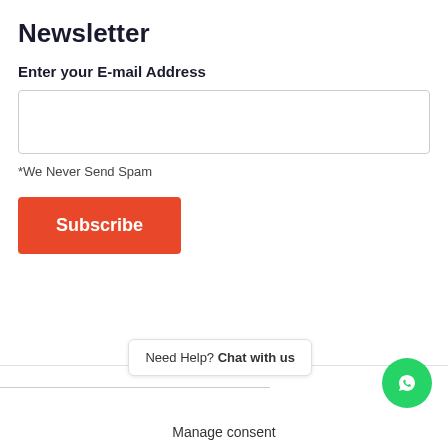Newsletter
Enter your E-mail Address
*We Never Send Spam
Subscribe
Need Help? Chat with us
Manage consent